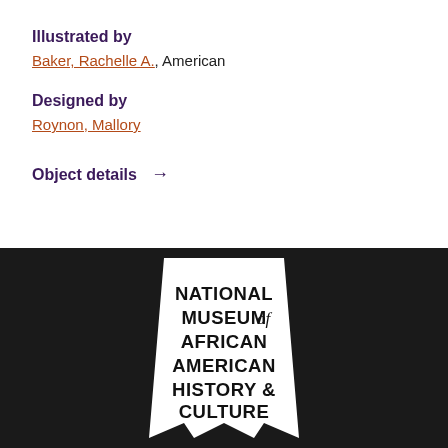Illustrated by
Baker, Rachelle A., American
Designed by
Roynon, Mallory
Object details →
[Figure (logo): National Museum of African American History & Culture logo — white trapezoid/crown shape on dark background with text inside]